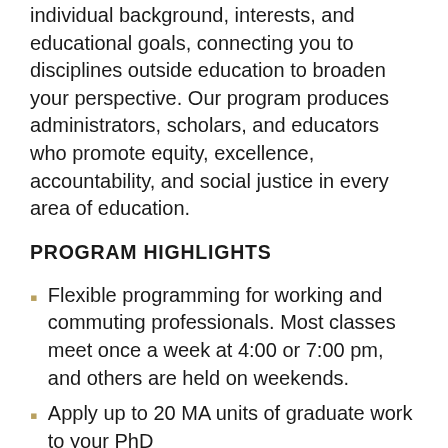individual background, interests, and educational goals, connecting you to disciplines outside education to broaden your perspective. Our program produces administrators, scholars, and educators who promote equity, excellence, accountability, and social justice in every area of education.
PROGRAM HIGHLIGHTS
Flexible programming for working and commuting professionals. Most classes meet once a week at 4:00 or 7:00 pm, and others are held on weekends.
Apply up to 20 MA units of graduate work to your PhD
Enjoy small, interactive classes. You will also work closely with a faculty mentor who helps you navigate your way through graduate school based upon your specific aspirations and interests.